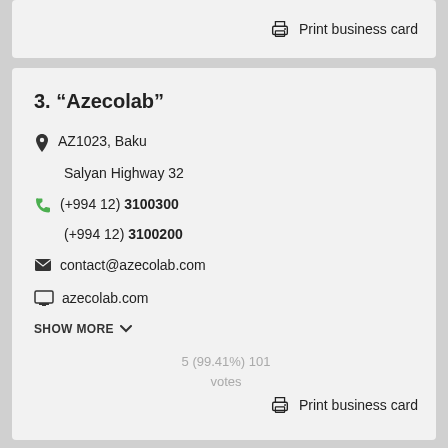Print business card
3. "Azecolab"
AZ1023, Baku
Salyan Highway 32
(+994 12) 3100300
(+994 12) 3100200
contact@azecolab.com
azecolab.com
SHOW MORE
5 (99.41%) 101 votes
Print business card